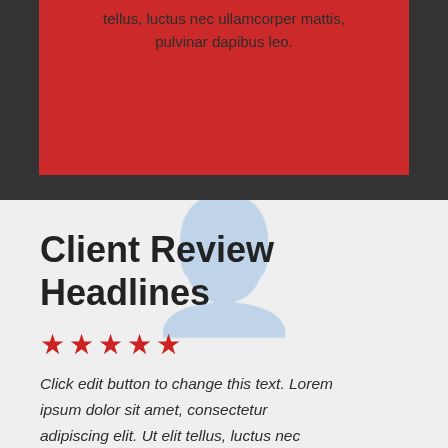tellus, luctus nec ullamcorper mattis, pulvinar dapibus leo.
Client Review Headlines
★★★★★
Click edit button to change this text. Lorem ipsum dolor sit amet, consectetur adipiscing elit. Ut elit tellus, luctus nec